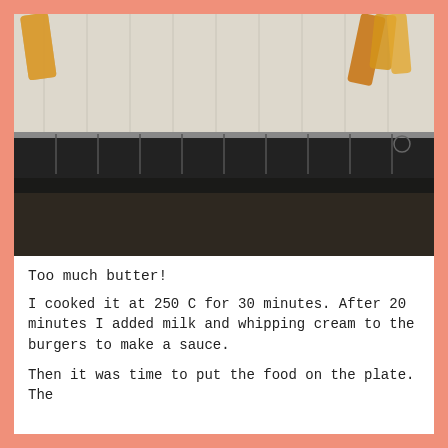[Figure (photo): Photo of food (french fries) on a metal baking tray lined with parchment paper, with a black tray edge visible and a dark countertop below]
Too much butter!
I cooked it at 250 C for 30 minutes. After 20 minutes I added milk and whipping cream to the burgers to make a sauce.
Then it was time to put the food on the plate. The